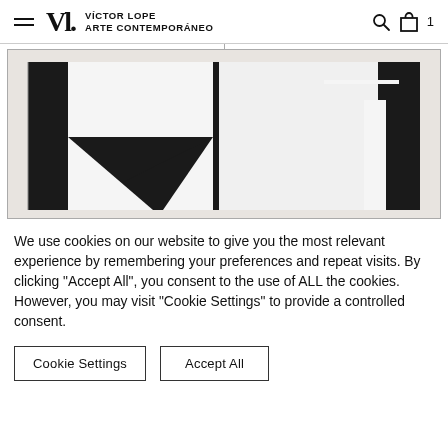Víctor Lope Arte Contemporáneo — navigation header with logo, search, and bag icons
[Figure (photo): Black and white geometric abstract painting displayed in a gallery, featuring bold rectangles, triangles, and a thin white horizontal line on dark background]
We use cookies on our website to give you the most relevant experience by remembering your preferences and repeat visits. By clicking "Accept All", you consent to the use of ALL the cookies. However, you may visit "Cookie Settings" to provide a controlled consent.
Cookie Settings   Accept All